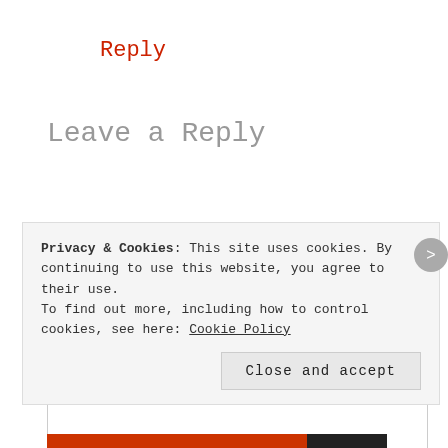Reply
Leave a Reply
Your email address will not be published. Required fields are marked *
COMMENT *
Privacy & Cookies: This site uses cookies. By continuing to use this website, you agree to their use. To find out more, including how to control cookies, see here: Cookie Policy
Close and accept